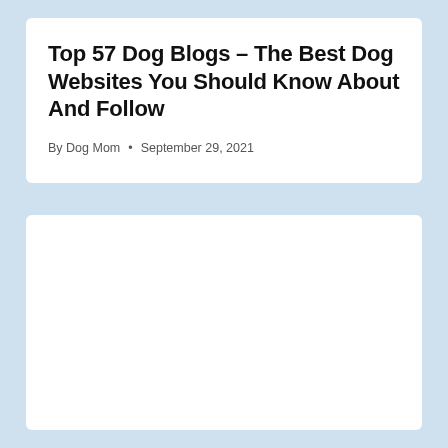Top 57 Dog Blogs – The Best Dog Websites You Should Know About And Follow
By Dog Mom • September 29, 2021
[Figure (other): Empty white card/panel below the article header, likely a placeholder for an image or advertisement]